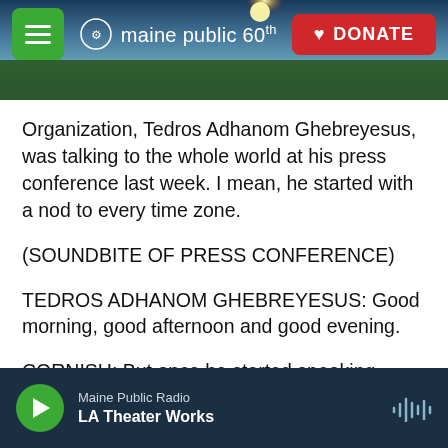[Figure (screenshot): Maine Public website header banner with navigation: hamburger menu button (green), Maine Public 60th anniversary logo, and red DONATE button. Background shows a scenic landscape with sunrise/sunset over mountains and water.]
Organization, Tedros Adhanom Ghebreyesus, was talking to the whole world at his press conference last week. I mean, he started with a nod to every time zone.
(SOUNDBITE OF PRESS CONFERENCE)
TEDROS ADHANOM GHEBREYESUS: Good morning, good afternoon and good evening.
CORNISH: But once he started speaking about global vaccine distribution, it was clear he had a specific audience in mind.
Maine Public Radio — LA Theater Works